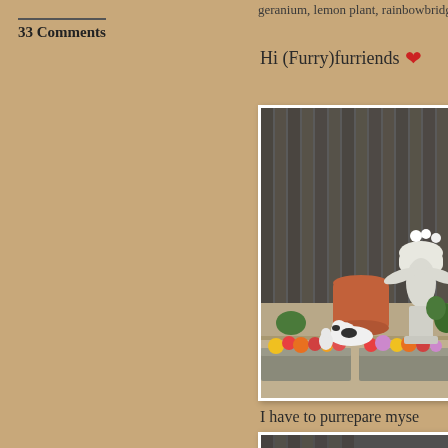geranium, lemon plant, rainbowbridge, violets
33 Comments
Hi (Furry)furriends ❤
[Figure (photo): A black and white cat lying in a garden bed with colorful flowers, a terracotta pot, and a white stone cherub/angel birdbath statue against a dark wooden fence background.]
I have to purrepare myse
[Figure (photo): Partial view of a second garden photo, similar setting with dark fence background and white statue visible at bottom right.]